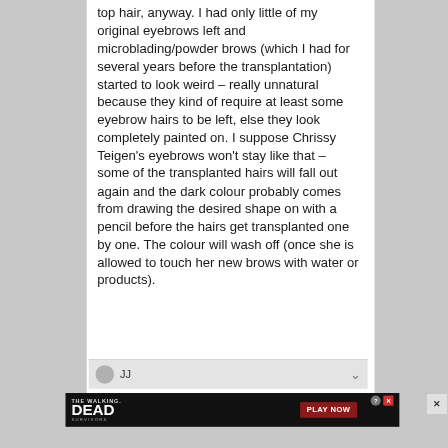top hair, anyway. I had only little of my original eyebrows left and microblading/powder brows (which I had for several years before the transplantation) started to look weird – really unnatural because they kind of require at least some eyebrow hairs to be left, else they look completely painted on. I suppose Chrissy Teigen's eyebrows won't stay like that – some of the transplanted hairs will fall out again and the dark colour probably comes from drawing the desired shape on with a pencil before the hairs get transplanted one by one. The colour will wash off (once she is allowed to touch her new brows with water or products).
[Figure (screenshot): Comment bar showing avatar circle, username 'JJ', and a downvote arrow]
[Figure (screenshot): Advertisement banner for 'The Walking Dead: Survivors' mobile game with PLAY NOW button, help icon, and close X button]